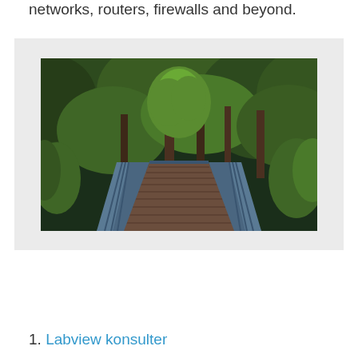networks, routers, firewalls and beyond.
[Figure (photo): A wooden footbridge with metal railings leading into a lush green forest with tall trees and ferns, viewed from a perspective standing on the bridge looking forward.]
1. Labview konsulter